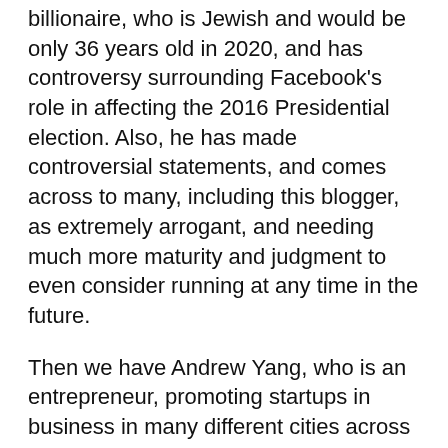billionaire, who is Jewish and would be only 36 years old in 2020, and has controversy surrounding Facebook's role in affecting the 2016 Presidential election. Also, he has made controversial statements, and comes across to many, including this blogger, as extremely arrogant, and needing much more maturity and judgment to even consider running at any time in the future.
Then we have Andrew Yang, who is an entrepreneur, promoting startups in business in many different cities across America. Yang, born of Chinese parents from Taiwan, would be 45 years old, and wants to promote a Universal Basic Income of $1,000 a month to all Americans 18-64, as part of his platform, and he has already announced for President, but the question is